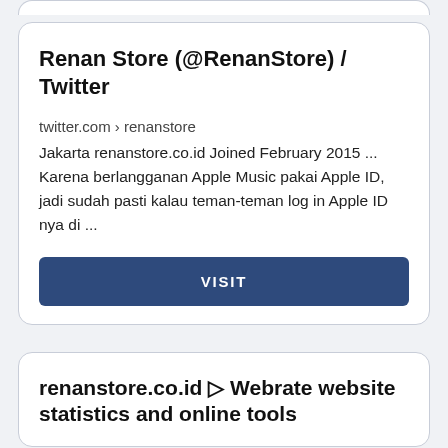Renan Store (@RenanStore) / Twitter
twitter.com › renanstore
Jakarta renanstore.co.id Joined February 2015 ... Karena berlangganan Apple Music pakai Apple ID, jadi sudah pasti kalau teman-teman log in Apple ID nya di ...
VISIT
renanstore.co.id ▷ Webrate website statistics and online tools